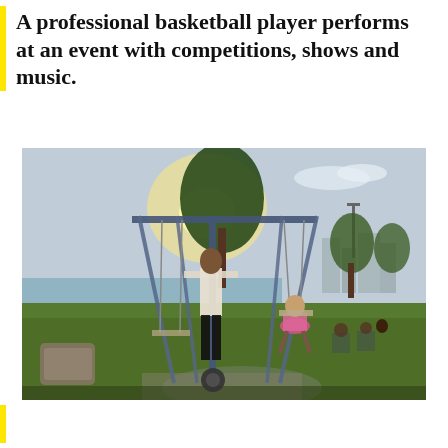A professional basketball player performs at an event with competitions, shows and music.
[Figure (photo): Outdoor park scene at sunset showing a man standing at a swing set structure with a young girl on a swing. Green grass, trees, water body and city buildings visible in background. Other people sitting in chairs on the right side of the image.]